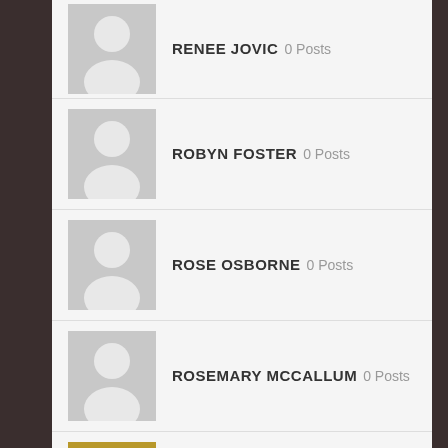RENEE JOVIC 0 Posts
ROBYN FOSTER 0 Posts
ROSE OSBORNE 0 Posts
ROSEMARY MCCALLUM 0 Posts
SAHARA MADI 0 Posts
SALLY MCGRATH 0 Posts